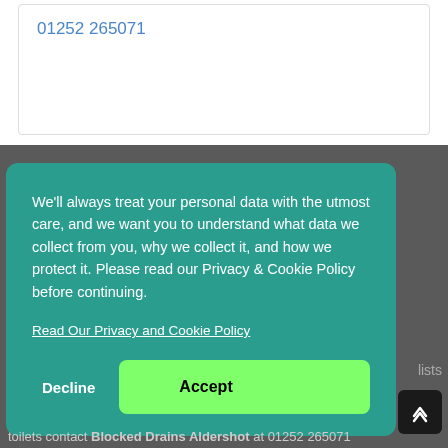01252 265071
We'll always treat your personal data with the utmost care, and we want you to understand what data we collect from you, why we collect it, and how we protect it. Please read our Privacy & Cookie Policy before continuing.
Read Our Privacy and Cookie Policy
Decline
Accept
lists
toilets contact Blocked Drains Aldershot at 01252 265071